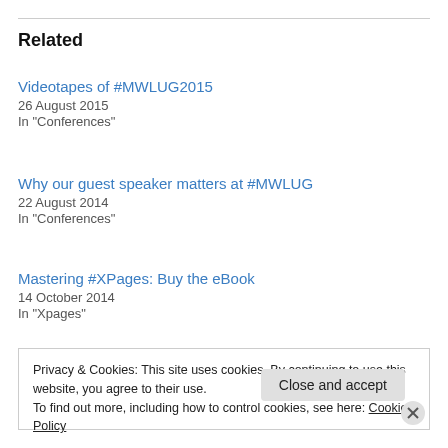Related
Videotapes of #MWLUG2015
26 August 2015
In "Conferences"
Why our guest speaker matters at #MWLUG
22 August 2014
In "Conferences"
Mastering #XPages: Buy the eBook
14 October 2014
In "Xpages"
Privacy & Cookies: This site uses cookies. By continuing to use this website, you agree to their use.
To find out more, including how to control cookies, see here: Cookie Policy